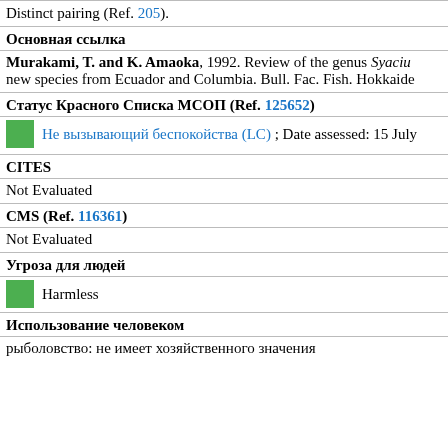Distinct pairing (Ref. 205).
Основная ссылка
Murakami, T. and K. Amaoka, 1992. Review of the genus Syaciu new species from Ecuador and Columbia. Bull. Fac. Fish. Hokkaide
Статус Красного Списка МСОП (Ref. 125652)
Не вызывающий беспокойства (LC) ; Date assessed: 15 July
CITES
Not Evaluated
CMS (Ref. 116361)
Not Evaluated
Угроза для людей
Harmless
Использование человеком
рыболовство: не имеет хозяйственного значения